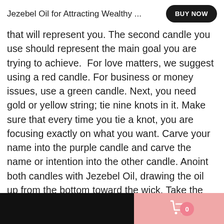Jezebel Oil for Attracting Wealthy ...
that will represent you. The second candle you use should represent the main goal you are trying to achieve.  For love matters, we suggest using a red candle. For business or money issues, use a green candle. Next, you need gold or yellow string; tie nine knots in it. Make sure that every time you tie a knot, you are focusing exactly on what you want. Carve your name into the purple candle and carve the name or intention into the other candle. Anoint both candles with Jezebel Oil, drawing the oil up from the bottom toward the wick. Take the yellow or gold thread and wrap it around both candles so they are connected/joined and then tie the string. When you are ready, light the candle and say a prayer or recite psalm 23.